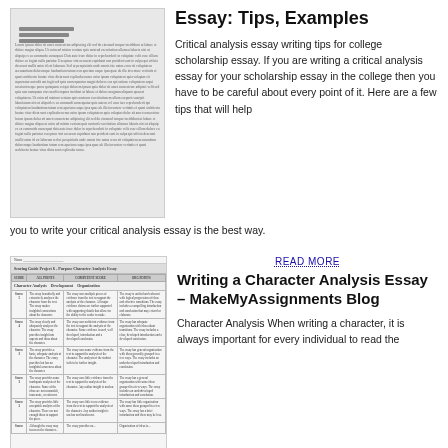[Figure (screenshot): Screenshot of a document page with text content and a sidebar image with horizontal lines]
Essay: Tips, Examples
Critical analysis essay writing tips for college scholarship essay. If you are writing a critical analysis essay for your scholarship essay in the college then you have to be careful about every point of it. Here are a few tips that will help you to write your critical analysis essay is the best way.
[Figure (table-as-image): Rubric table for Scoring Guide Project 6 - Purpose Character Analysis Essay, with columns for Score, All Points, Competent Score, and Org Points, showing scores 5 through 2]
READ MORE
Writing a Character Analysis Essay – MakeMyAssignments Blog
Character Analysis When writing a character, it is always important for every individual to read the